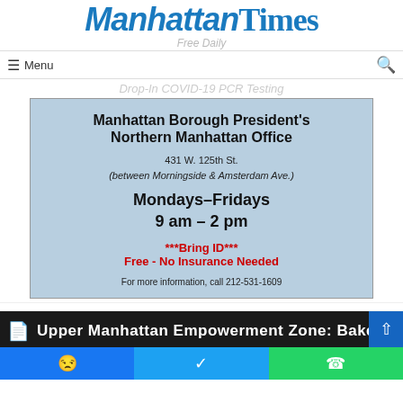Manhattan Times
Free Daily
Drop-In COVID-19 PCR Testing
[Figure (infographic): Drop-In COVID-19 PCR Testing advertisement flyer on light blue background. Manhattan Borough President's Northern Manhattan Office, 431 W. 125th St. (between Morningside & Amsterdam Ave.), Mondays-Fridays 9 am - 2 pm. ***Bring ID*** Free - No Insurance Needed. For more information, call 212-531-1609.]
Upper Manhattan Empowerment Zone: Baked Craving...